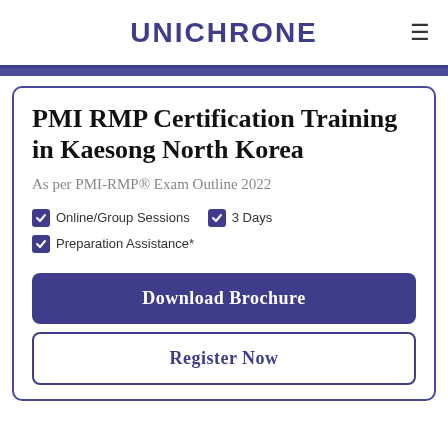UNICHRONE
PMI RMP Certification Training in Kaesong North Korea
As per PMI-RMP® Exam Outline 2022
Online/Group Sessions
3 Days
Preparation Assistance*
Download Brochure
Register Now